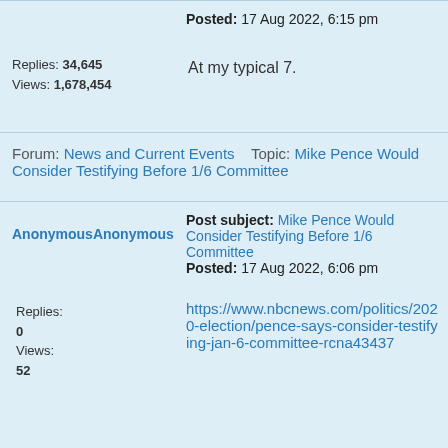Posted: 17 Aug 2022, 6:15 pm
Replies: 34,645  Views: 1,678,454
At my typical 7.
Forum: News and Current Events   Topic: Mike Pence Would Consider Testifying Before 1/6 Committee
AnonymousAnonymous
Post subject: Mike Pence Would Consider Testifying Before 1/6 Committee  Posted: 17 Aug 2022, 6:06 pm
Replies: 0  Views: 52
https://www.nbcnews.com/politics/2020-election/pence-says-consider-testifying-jan-6-committee-rcna43437